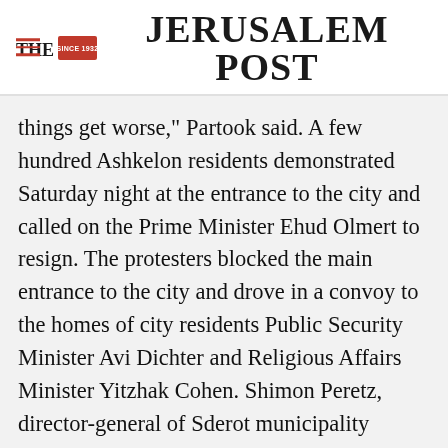THE JERUSALEM POST
things get worse," Partook said. A few hundred Ashkelon residents demonstrated Saturday night at the entrance to the city and called on the Prime Minister Ehud Olmert to resign. The protesters blocked the main entrance to the city and drove in a convoy to the homes of city residents Public Security Minister Avi Dichter and Religious Affairs Minister Yitzhak Cohen. Shimon Peretz, director-general of Sderot municipality
Advertisement
[Figure (other): Magen David Adom advertisement banner with red background, Star of David logo, Hebrew text, and 'Help us save lives in Israel' call-to-action button]